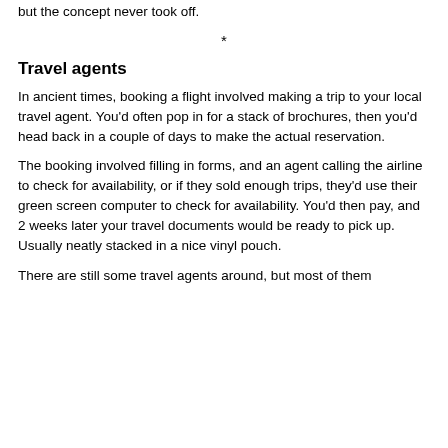but the concept never took off.
*
Travel agents
In ancient times, booking a flight involved making a trip to your local travel agent. You'd often pop in for a stack of brochures, then you'd head back in a couple of days to make the actual reservation.
The booking involved filling in forms, and an agent calling the airline to check for availability, or if they sold enough trips, they'd use their green screen computer to check for availability. You'd then pay, and 2 weeks later your travel documents would be ready to pick up. Usually neatly stacked in a nice vinyl pouch.
There are still some travel agents around, but most of them